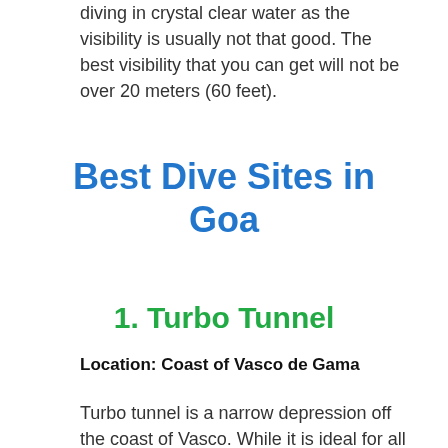diving in crystal clear water as the visibility is usually not that good. The best visibility that you can get will not be over 20 meters (60 feet).
Best Dive Sites in Goa
1. Turbo Tunnel
Location: Coast of Vasco de Gama
Turbo tunnel is a narrow depression off the coast of Vasco. While it is ideal for all levels of certification due to its